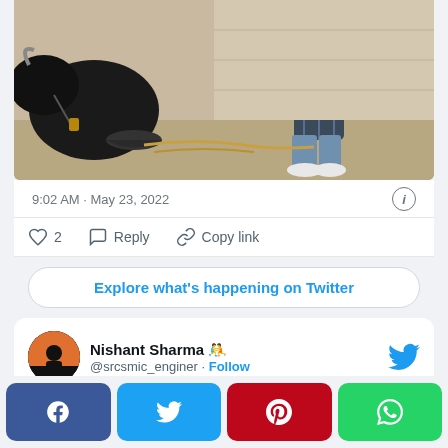[Figure (photo): A man squatting next to a buffalo/cow outdoors, with a bowl on the ground. Outdoor scene with sandy/dusty ground.]
9:02 AM · May 23, 2022
♡ 2   Reply   Copy link
Explore what's happening on Twitter
[Figure (photo): Profile photo of Nishant Sharma - a man in black shirt against a sunset background]
Nishant Sharma 🤼 @srcsmic_enginer · Follow
Panchayat 2 × Nehra jii
[Figure (screenshot): Bottom share bar with Facebook, Twitter, Pinterest, WhatsApp buttons]